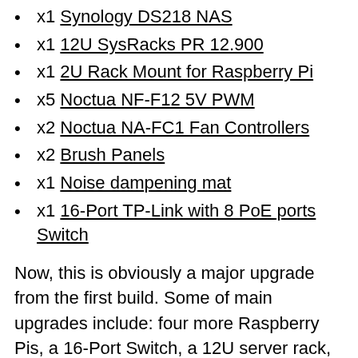x1 Synology DS218 NAS
x1 12U SysRacks PR 12.900
x1 2U Rack Mount for Raspberry Pi
x5 Noctua NF-F12 5V PWM
x2 Noctua NA-FC1 Fan Controllers
x2 Brush Panels
x1 Noise dampening mat
x1 16-Port TP-Link with 8 PoE ports Switch
Now, this is obviously a major upgrade from the first build. Some of main upgrades include: four more Raspberry Pis, a 16-Port Switch, a 12U server rack, and the new SSDs. I bought the NVMe drives to be able to run the Kubernetes cluster in High Availability (HA) mode. Additionally, the micro SD cards were